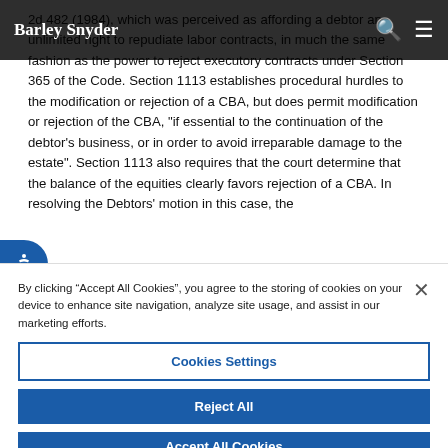Barley Snyder
2d 482 (1984), which was perceived as affording a debtor an unlimited right to repudiate labor contracts, in much the same fashion as the power to reject executory contracts under Section 365 of the Code. Section 1113 establishes procedural hurdles to the modification or rejection of a CBA, but does permit modification or rejection of the CBA, "if essential to the continuation of the debtor's business, or in order to avoid irreparable damage to the estate". Section 1113 also requires that the court determine that the balance of the equities clearly favors rejection of a CBA. In resolving the Debtors' motion in this case, the
By clicking “Accept All Cookies”, you agree to the storing of cookies on your device to enhance site navigation, analyze site usage, and assist in our marketing efforts.
Cookies Settings
Reject All